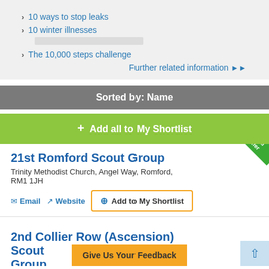10 ways to stop leaks
10 winter illnesses
The 10,000 steps challenge
Further related information ▶▶
Sorted by: Name
+ Add all to My Shortlist
21st Romford Scout Group
Trinity Methodist Church, Angel Way, Romford, RM1 1JH
Email  Website  Add to My Shortlist
2nd Collier Row (Ascension) Scout Group
Give Us Your Feedback